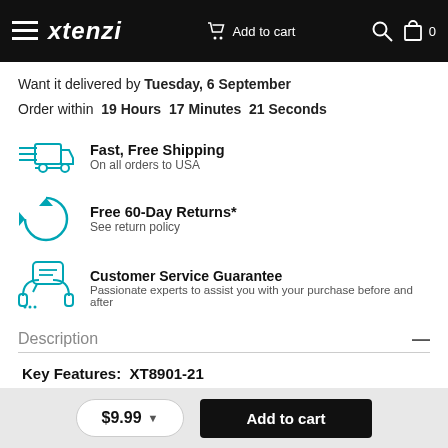xtenzi — Add to cart
Want it delivered by Tuesday, 6 September
Order within 19 Hours 17 Minutes 21 Seconds
Fast, Free Shipping
On all orders to USA
Free 60-Day Returns*
See return policy
Customer Service Guarantee
Passionate experts to assist you with your purchase before and after
Description
Key Features:  XT8901-21
$9.99   Add to cart